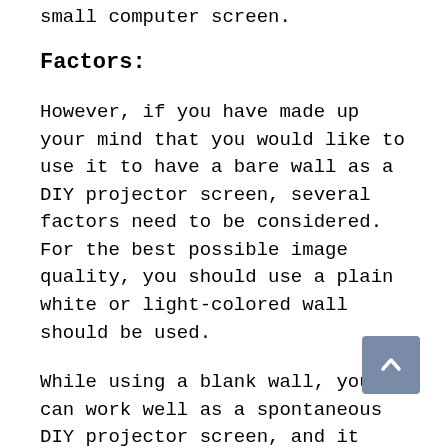small computer screen.
Factors:
However, if you have made up your mind that you would like to use it to have a bare wall as a DIY projector screen, several factors need to be considered. For the best possible image quality, you should use a plain white or light-colored wall should be used.
While using a blank wall, you can work well as a spontaneous DIY projector screen, and it will not matter where you are using it and will not be provided with the best possible video and audio performance quality.
Many people found that it is not working